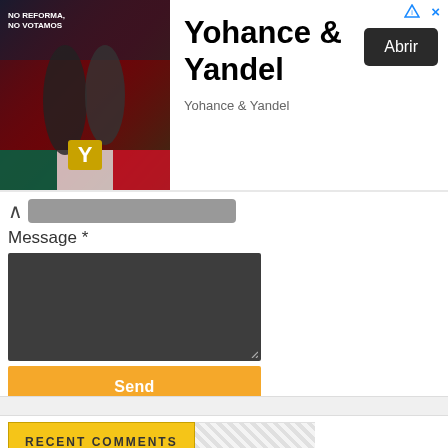[Figure (screenshot): Advertisement banner for Yohance & Yandel app with album art image on the left, title 'Yohance & Yandel', subtitle 'Yohance & Yandel', and 'Abrir' button on the right]
Message *
[Figure (screenshot): Dark textarea input box for message entry with resize handle]
Send
RECENT COMMENTS
Anonymous commented on Getting Landline Telephone Service